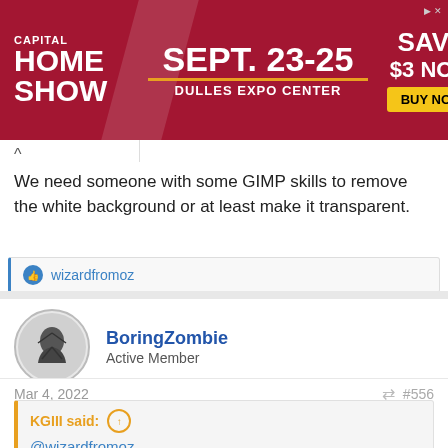[Figure (screenshot): Capital Home Show advertisement banner. Red background with text: CAPITAL HOME SHOW, SEPT. 23-25, DULLES EXPO CENTER, SAVE $3 NOW, BUY NOW button in yellow.]
We need someone with some GIMP skills to remove the white background or at least make it transparent.
wizardfromoz
BoringZombie
Active Member
Mar 4, 2022
#556
KGIII said:
@wizardfromoz
We need someone with some GIMP skills to remove the white background or at least make it transparent.